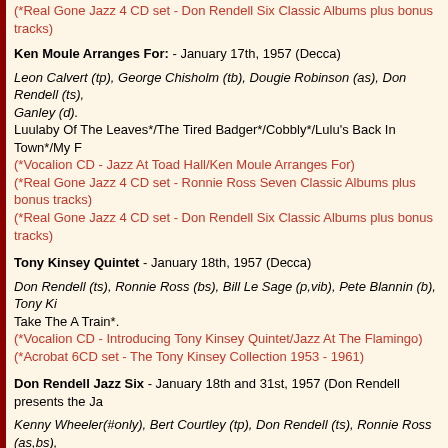(*Real Gone Jazz 4 CD set - Don Rendell Six Classic Albums plus bonus tracks)
Ken Moule Arranges For: - January 17th, 1957 (Decca)
Leon Calvert (tp), George Chisholm (tb), Dougie Robinson (as), Don Rendell (ts), Ganley (d).
Luulaby Of The Leaves*/The Tired Badger*/Cobbly*/Lulu's Back In Town*/My F
(*Vocalion CD - Jazz At Toad Hall/Ken Moule Arranges For)
(*Real Gone Jazz 4 CD set - Ronnie Ross Seven Classic Albums plus bonus tracks)
(*Real Gone Jazz 4 CD set - Don Rendell Six Classic Albums plus bonus tracks)
Tony Kinsey Quintet - January 18th, 1957 (Decca)
Don Rendell (ts), Ronnie Ross (bs), Bill Le Sage (p,vib), Pete Blannin (b), Tony Ki
Take The A Train*.
(*Vocalion CD - Introducing Tony Kinsey Quintet/Jazz At The Flamingo)
(*Acrobat 6CD set - The Tony Kinsey Collection 1953 - 1961)
Don Rendell Jazz Six - January 18th and 31st, 1957 (Don Rendell presents the Ja
Kenny Wheeler(#only), Bert Courtley (tp), Don Rendell (ts), Ronnie Ross (as,bs),
Out Of Nowhere#*/Ignis Fatuus*/Star Eyes^*/I Know Why*/Takin' A Chance On
(^Castle 3CD box set - Too Hot - The Best of British Mainstream Jazz)
(*Vocalion CD - Don Rendell presents the Jazz Six / Tenorama Highlights)
(*Real Gone Jazz 4 CD set - Ronnie Ross Seven Classic Albums plus bonus tracks)
(*Real Gone Jazz 4 CD set - Don Rendell Six Classic Albums plus bonus tracks)
Lita Roza was a popular vocalist with the Ted Heath band and the session below u.
Lita Roza with Bill Munn's All Stars - February 11th, 14th and 15th, 1957 (Betw
Ronnie Hughes (tp), George Chisholm, Ken Wray (tb), George Hunter (as), Don R (g), Joe Muddel or Lennie Bush (b), Eddie Taylor or Jack Peach (d).
Between The Devil And The Deep Blue Sea*/Willow Weep For Me*/Little Whit